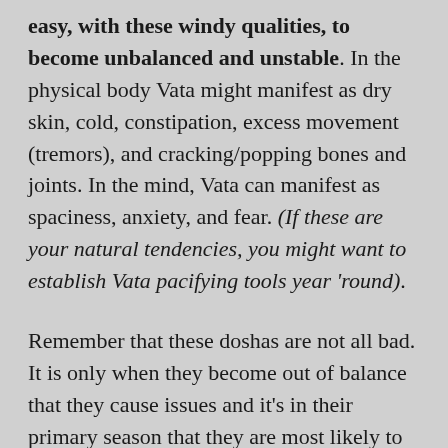easy, with these windy qualities, to become unbalanced and unstable. In the physical body Vata might manifest as dry skin, cold, constipation, excess movement (tremors), and cracking/popping bones and joints. In the mind, Vata can manifest as spaciness, anxiety, and fear. (If these are your natural tendencies, you might want to establish Vata pacifying tools year 'round).
Remember that these doshas are not all bad. It is only when they become out of balance that they cause issues and it's in their primary season that they are most likely to